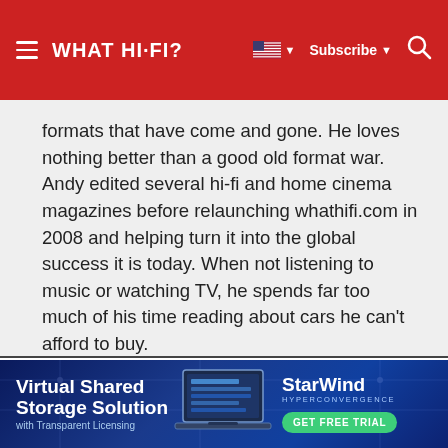WHAT HI-FI?
formats that have come and gone. He loves nothing better than a good old format war. Andy edited several hi-fi and home cinema magazines before relaunching whathifi.com in 2008 and helping turn it into the global success it is today. When not listening to music or watching TV, he spends far too much of his time reading about cars he can't afford to buy.
[Figure (screenshot): Taboola Feed logo/label at right side]
[Figure (infographic): StarWind advertisement banner: Virtual Shared Storage Solution with Transparent Licensing. StarWind Hyperconvergence. GET FREE TRIAL button.]